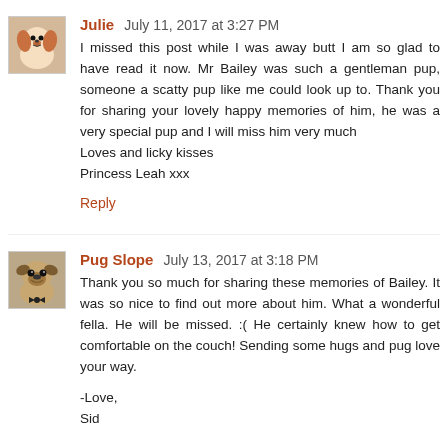[Figure (illustration): Avatar image of a small dog (Cavalier King Charles Spaniel type) for user Julie]
Julie July 11, 2017 at 3:27 PM
I missed this post while I was away butt I am so glad to have read it now. Mr Bailey was such a gentleman pup, someone a scatty pup like me could look up to. Thank you for sharing your lovely happy memories of him, he was a very special pup and I will miss him very much
Loves and licky kisses
Princess Leah xxx
Reply
[Figure (illustration): Avatar image of a pug dog wearing a bow tie for user Pug Slope]
Pug Slope July 13, 2017 at 3:18 PM
Thank you so much for sharing these memories of Bailey. It was so nice to find out more about him. What a wonderful fella. He will be missed. :( He certainly knew how to get comfortable on the couch! Sending some hugs and pug love your way.

-Love,
Sid